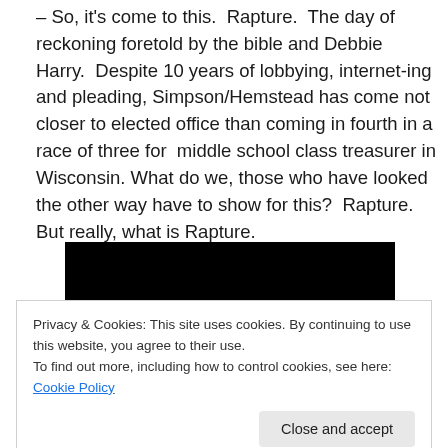– So, it's come to this.  Rapture.  The day of reckoning foretold by the bible and Debbie Harry.  Despite 10 years of lobbying, internet-ing and pleading, Simpson/Hemstead has come not closer to elected office than coming in fourth in a race of three for  middle school class treasurer in Wisconsin. What do we, those who have looked the other way have to show for this?  Rapture.  But really, what is Rapture.
[Figure (photo): Dark image with an orange-red fireball/explosion on a black background]
Privacy & Cookies: This site uses cookies. By continuing to use this website, you agree to their use.
To find out more, including how to control cookies, see here: Cookie Policy